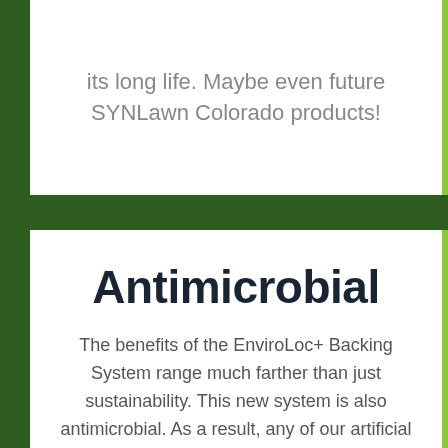its long life. Maybe even future SYNLawn Colorado products!
Antimicrobial
The benefits of the EnviroLoc+ Backing System range much farther than just sustainability. This new system is also antimicrobial. As a result, any of our artificial turf products manufactured with the EnviroLoc+ backing will help in reducing the formation of potentially harmful microbes